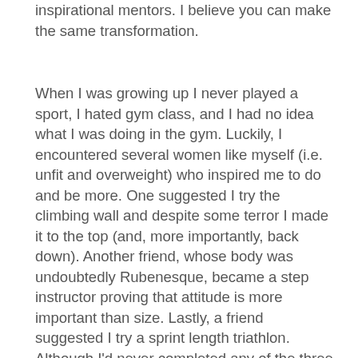inspirational mentors. I believe you can make the same transformation.
When I was growing up I never played a sport, I hated gym class, and I had no idea what I was doing in the gym. Luckily, I encountered several women like myself (i.e. unfit and overweight) who inspired me to do and be more. One suggested I try the climbing wall and despite some terror I made it to the top (and, more importantly, back down). Another friend, whose body was undoubtedly Rubenesque, became a step instructor proving that attitude is more important than size. Lastly, a friend suggested I try a sprint length triathlon. Although I'd never completed any of the three events alone, never mind together, I succeeded! From then on I've continued to push myself to try new things – from running a half-marathon to Belly Dance classes to